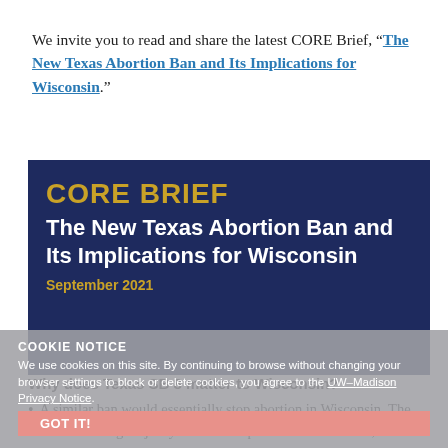We invite you to read and share the latest CORE Brief, “The New Texas Abortion Ban and Its Implications for Wisconsin.”
[Figure (screenshot): CORE Brief banner with dark navy background showing title 'CORE BRIEF' in gold bold text, subtitle 'The New Texas Abortion Ban and Its Implications for Wisconsin' in white, and date 'September 2021' in gold]
COOKIE NOTICE
We use cookies on this site. By continuing to browse without changing your browser settings to block or delete cookies, you agree to the UW–Madison Privacy Notice.
GOT IT!
Why does Texas SB 8 matter to Wisconsin?
A similar ban would essentially stop abortion in Wisconsin. The overwhelming majority of abortion patients in Wisconsin, upwards of 95% or more, obtain